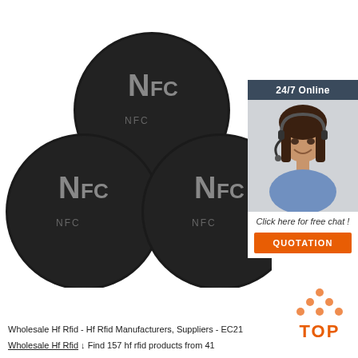[Figure (photo): Three black circular NFC tags/discs with silver NFC logo text on them, arranged in a triangle formation against a white background. Overlaid in the upper right is a customer service sidebar with '24/7 Online' header, a smiling female customer service representative wearing a headset, 'Click here for free chat!' text, and an orange QUOTATION button.]
[Figure (logo): TOP icon with orange dot-triangle above orange bold text 'TOP', positioned in lower right area]
Wholesale Hf Rfid - Hf Rfid Manufacturers, Suppliers - EC21
Wholesale Hf Rfid ↓ Find 157 hf rfid products from 41